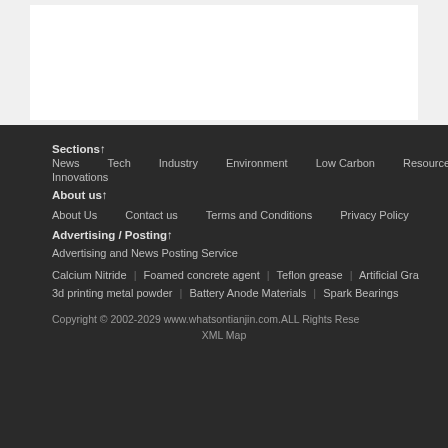[Figure (other): White content area box on light grey background, representing page content area]
Sections↑
News   Tech      Industry   Environment    Low Carbon    Resources
Innovations
About us↑
About Us      Contact us       Terms and Conditions      Privacy Policy
Advertising / Posting↑
Advertising and News Posting Service
Calcium Nitride | Foamed concrete agent | Teflon grease | Artificial Gra…
3d printing metal powder | Battery Anode Materials | Spark Bearings
Copyright © 2002-2029 www.whatsontianjin.com.ALL Rights Rese…
XML Map